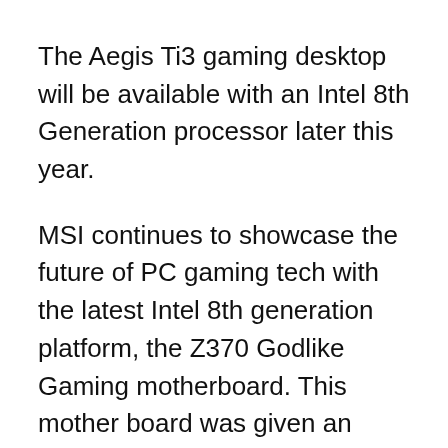The Aegis Ti3 gaming desktop will be available with an Intel 8th Generation processor later this year.
MSI continues to showcase the future of PC gaming tech with the latest Intel 8th generation platform, the Z370 Godlike Gaming motherboard. This mother board was given an honors as a CES 2018 Innovation Award Honoree.
The motherboard supports Triple Turbo M.2 Shield V2, Turbo U.2 with steel Armor and [continues below]